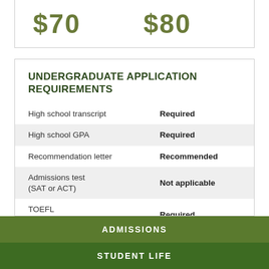$70   $80
UNDERGRADUATE APPLICATION REQUIREMENTS
|  |  |
| --- | --- |
| High school transcript | Required |
| High school GPA | Required |
| Recommendation letter | Recommended |
| Admissions test (SAT or ACT) | Not applicable |
| TOEFL (international students) | Required |
| Completion of college prep program | Required |
| Demonstration of | Not applicable |
ADMISSIONS
STUDENT LIFE